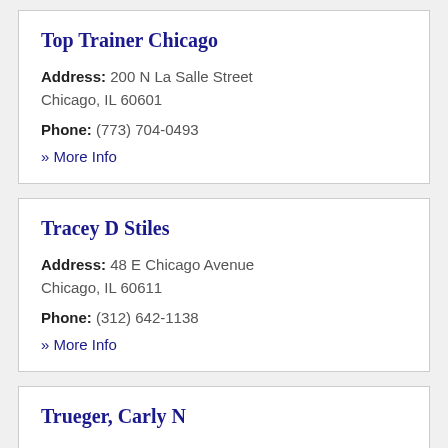Top Trainer Chicago
Address: 200 N La Salle Street
Chicago, IL 60601
Phone: (773) 704-0493
» More Info
Tracey D Stiles
Address: 48 E Chicago Avenue
Chicago, IL 60611
Phone: (312) 642-1138
» More Info
Trueger, Carly N